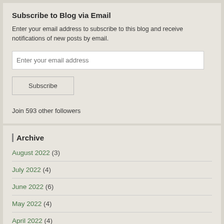Subscribe to Blog via Email
Enter your email address to subscribe to this blog and receive notifications of new posts by email.
Enter your email address
Subscribe
Join 593 other followers
Archive
August 2022 (3)
July 2022 (4)
June 2022 (6)
May 2022 (4)
April 2022 (4)